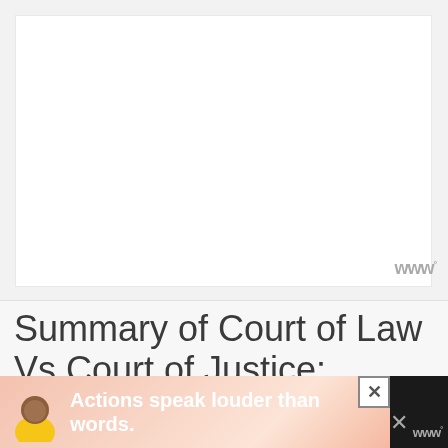[Figure (other): Large white/light gray image placeholder area at the top of the page, representing a web article image]
[Figure (logo): Small watermark logo with stylized W and degree symbol in gray]
Summary of Court of Law Vs Court of Justice:
[Figure (other): Advertisement banner at the bottom: pink/coral gradient background, illustrated figure of a person in yellow jacket, text 'Actions speak louder than words.' with close button]
Th...